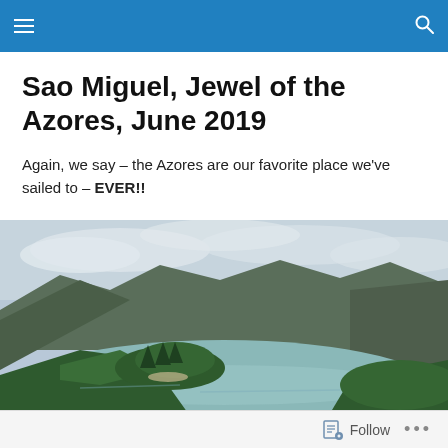navigation header bar with hamburger menu and search icon
Sao Miguel, Jewel of the Azores, June 2019
Again, we say – the Azores are our favorite place we've sailed to – EVER!!
[Figure (photo): Aerial view of a volcanic crater lake in Sao Miguel, Azores, with green forested islands, turquoise water, and cloudy sky]
Follow ...